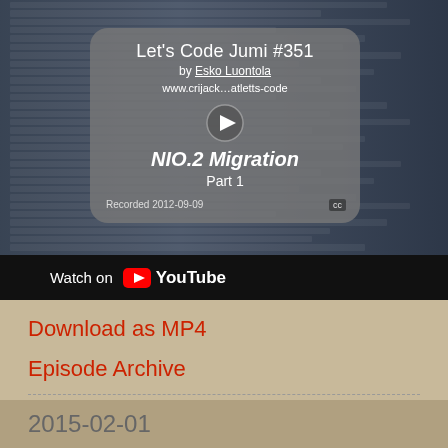[Figure (screenshot): YouTube video thumbnail showing Let's Code Jumi #351 by Esko Luontola, NIO.2 Migration Part 1, with IDE code editor in background and play button overlay]
Watch on YouTube
Download as MP4
Episode Archive
Esko Luontola at 22:03
Share
2015-02-01